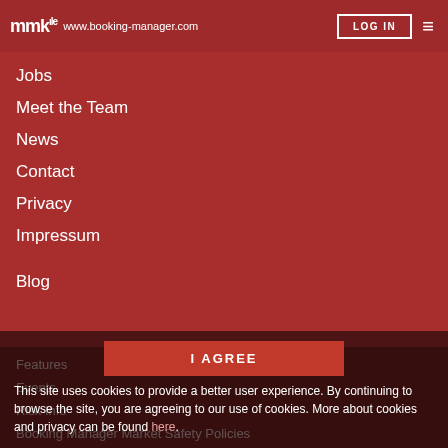mmk | www.booking-manager.com | LOG IN
Jobs
Meet the Team
News
Contact
Privacy
Impressum
Blog
Features
Events
Risk Info
Booking Manager Market Safety Policies
Press Kit
I AGREE
This site uses cookies to provide a better user experience. By continuing to browse the site, you are agreeing to our use of cookies. More about cookies and privacy can be found here.